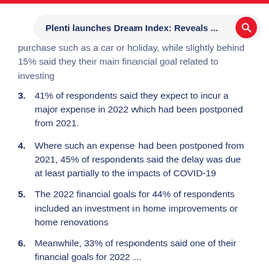Plenti launches Dream Index: Reveals ...
purchase such as a car or holiday, while slightly behind 15% said they their main financial goal related to investing
3. 41% of respondents said they expect to incur a major expense in 2022 which had been postponed from 2021.
4. Where such an expense had been postponed from 2021, 45% of respondents said the delay was due at least partially to the impacts of COVID-19
5. The 2022 financial goals for 44% of respondents included an investment in home improvements or home renovations
6. Meanwhile, 33% of respondents said one of their financial goals for 2022 ...